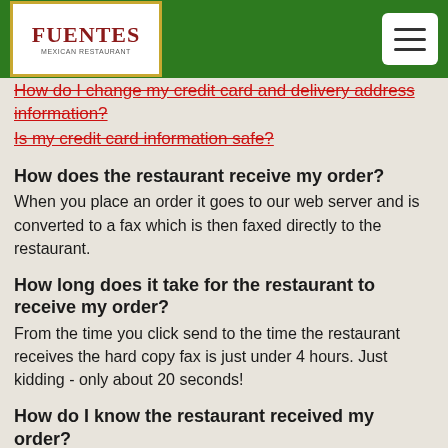Fuentes
How do I change my credit card and delivery address information?
Is my credit card information safe?
How does the restaurant receive my order?
When you place an order it goes to our web server and is converted to a fax which is then faxed directly to the restaurant.
How long does it take for the restaurant to receive my order?
From the time you click send to the time the restaurant receives the hard copy fax is just under 4 hours. Just kidding - only about 20 seconds!
How do I know the restaurant received my order?
You will get an email confirming that your order has been received. We also have customer service people standing by, monitoring the site and confirming orders directly with the restaurant.